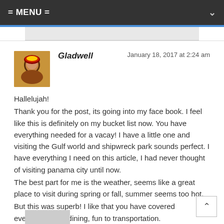= MENU =
Gladwell
January 18, 2017 at 2:24 am
Hallelujah!
Thank you for the post, its going into my face book. I feel like this is definitely on my bucket list now. You have everything needed for a vacay! I have a little one and visiting the Gulf world and shipwreck park sounds perfect. I have everything I need on this article, I had never thought of visiting panama city until now.
The best part for me is the weather, seems like a great place to visit during spring or fall, summer seems too hot.
But this was superb! I like that you have covered everything from dining, fun to transportation.
Kudos!!!
Reply ↓